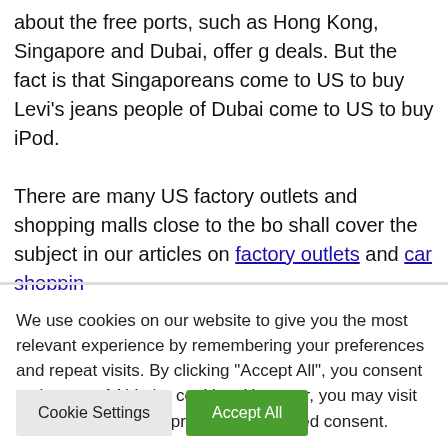about the free ports, such as Hong Kong, Singapore and Dubai, offer g deals. But the fact is that Singaporeans come to US to buy Levi's jeans people of Dubai come to US to buy iPod.

There are many US factory outlets and shopping malls close to the bo shall cover the subject in our articles on factory outlets and car shoppin
We use cookies on our website to give you the most relevant experience by remembering your preferences and repeat visits. By clicking "Accept All", you consent to the use of ALL the cookies. However, you may visit "Cookie Settings" to provide a controlled consent.